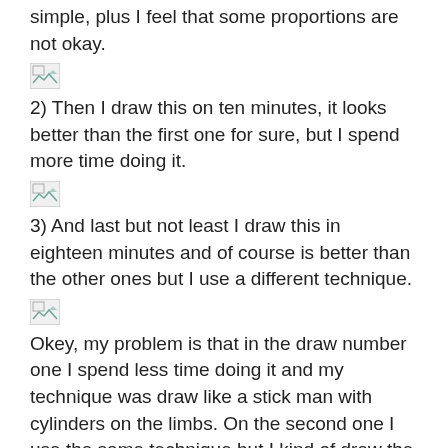simple, plus I feel that some proportions are not okay.
[Figure (photo): Broken image placeholder 1]
2) Then I draw this on ten minutes, it looks better than the first one for sure, but I spend more time doing it.
[Figure (photo): Broken image placeholder 2]
3) And last but not least I draw this in eighteen minutes and of course is better than the other ones but I use a different technique.
[Figure (photo): Broken image placeholder 3]
Okey, my problem is that in the draw number one I spend less time doing it and my technique was draw like a stick man with cylinders on the limbs. On the second one I use the same technique but I kind of draw the shape of the model and add some details. And in the